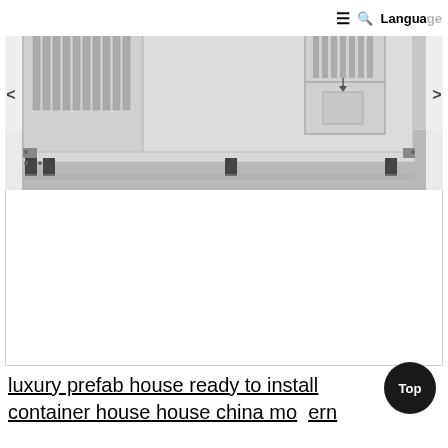≡  🔍  Language
[Figure (photo): A modular prefab container house unit shown in white/grey finish with vertical bar windows on the left side, a door with vertical bars in the upper half and a small rectangular panel in the lower half, a bottom frame rail, and four black support legs at the base. The structure sits against a light grey background.]
luxury prefab house ready to install container house house china modern